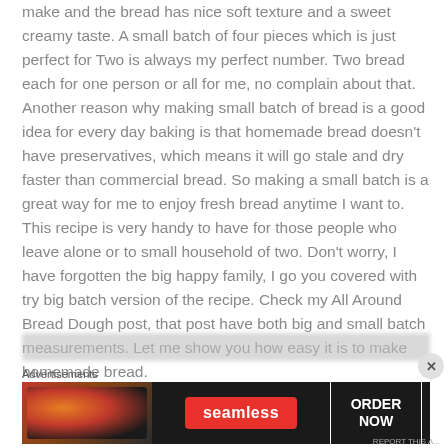make and the bread has nice soft texture and a sweet creamy taste. A small batch of four pieces which is just perfect for Two is always my perfect number. Two bread each for one person or all for me, no complain about that. Another reason why making small batch of bread is a good idea for every day baking is that homemade bread doesn't have preservatives, which means it will go stale and dry faster than commercial bread. So making a small batch is a great way for me to enjoy fresh bread anytime I want to. This recipe is very handy to have for those people who leave alone or to small household of two. Don't worry, I have forgotten the big happy family, I go you covered with try big batch version of the recipe. Check my All Around Bread Dough post, that post have both big and small batch measurements. Let me show you how easy it is to make homemade bread.
[Figure (screenshot): Blurred advertisement banner bar at top of ad section]
Advertisements
[Figure (screenshot): Seamless food ordering advertisement with pizza image on left, red Seamless logo in center, and ORDER NOW button on right, dark background]